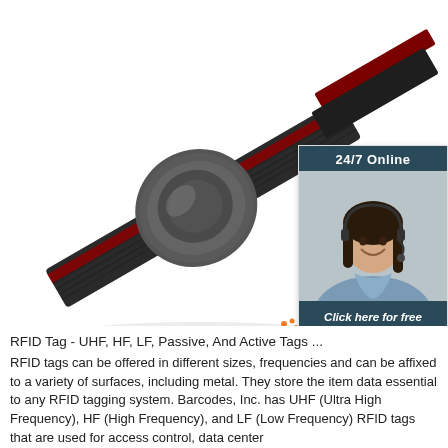[Figure (photo): RFID wristband tag product photo on white background, showing a round grey disc RFID tag mounted on a black and red adjustable strap/band.]
[Figure (infographic): 24/7 Online chat widget showing a smiling female customer service representative wearing a headset, with dark teal header '24/7 Online', italic text 'Click here for free chat!' and an orange button labeled 'QUOTATION'.]
[Figure (logo): TOP logo with orange dots and red/orange text 'TOP' on white background, overlaid on the product image area bottom right.]
RFID Tag - UHF, HF, LF, Passive, And Active Tags ...
RFID tags can be offered in different sizes, frequencies and can be affixed to a variety of surfaces, including metal. They store the item data essential to any RFID tagging system. Barcodes, Inc. has UHF (Ultra High Frequency), HF (High Frequency), and LF (Low Frequency) RFID tags that are used for access control, data center